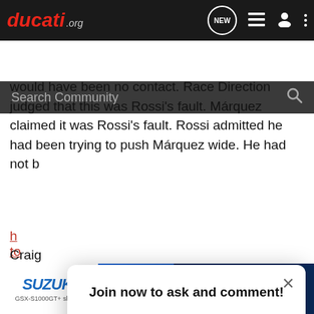ducati.org
Search Community
would have been no contact. Race Direction judged that this was Rossi's fault. Márquez claimed it was Rossi's fault. Rossi admitted he had been trying to push Márquez wide. He had not b...
Join now to ask and comment!
Continue with Facebook
Continue with Google
or sign up with email
Craig
[Figure (screenshot): Suzuki GSX-S1000GT motorcycle advertisement banner]